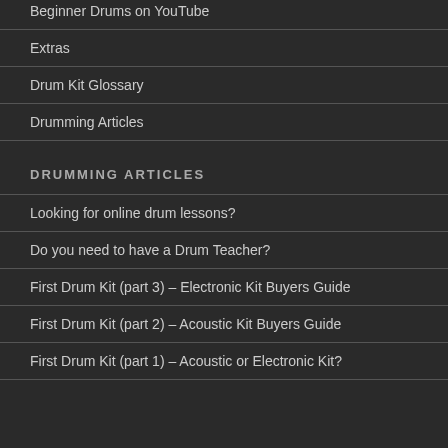Beginner Drums on YouTube
Extras
Drum Kit Glossary
Drumming Articles
DRUMMING ARTICLES
Looking for online drum lessons?
Do you need to have a Drum Teacher?
First Drum Kit (part 3) – Electronic Kit Buyers Guide
First Drum Kit (part 2) – Acoustic Kit Buyers Guide
First Drum Kit (part 1) – Acoustic or Electronic Kit?